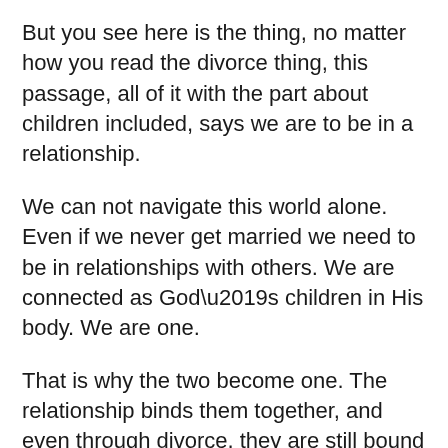But you see here is the thing, no matter how you read the divorce thing, this passage, all of it with the part about children included, says we are to be in a relationship.
We can not navigate this world alone. Even if we never get married we need to be in relationships with others. We are connected as God’s children in His body. We are one.
That is why the two become one. The relationship binds them together, and even through divorce, they are still bound to each other.
That is why I love this icon of the Holy Trinity by Andrei Rublev.